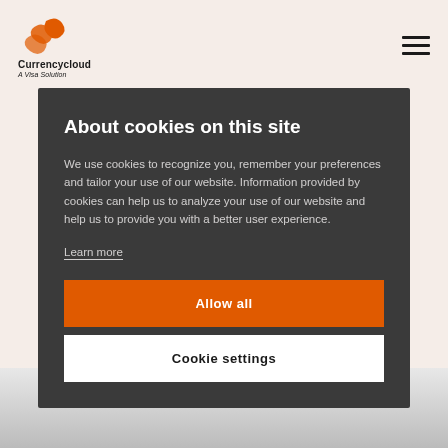[Figure (logo): Currencycloud logo with orange swirl icon, text 'Currencycloud' and subtitle 'A Visa Solution']
About cookies on this site
We use cookies to recognize you, remember your preferences and tailor your use of our website. Information provided by cookies can help us to analyze your use of our website and help us to provide you with a better user experience.
Learn more
Allow all
Cookie settings